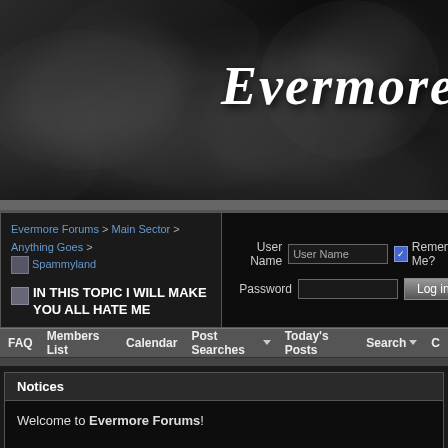[Figure (illustration): Dark smoky banner with 'Evermore' text in white cursive/italic font on right side, dark gray/black smoke-like background texture]
Evermore Forums > Main Sector > Anything Goes > Spammyland
🔵 IN THIS TOPIC I WILL MAKE YOU ALL HATE ME
User Name [User Name] ☑ Remember Me?
Password [        ] [Log in]
FAQ   Members List   Calendar   Post Searches ▼   Today's Posts   Search ▼   C
Notices
Welcome to Evermore Forums!

You are currently viewing our boards as a guest which gives you